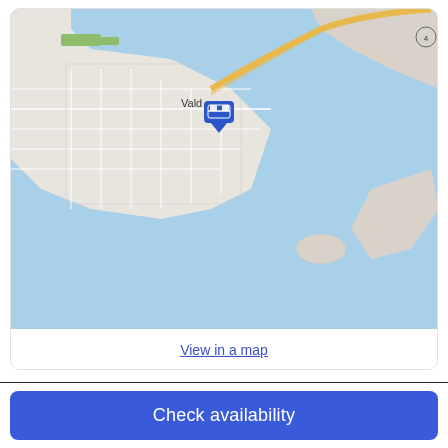[Figure (map): Street map of Valdez, Alaska showing coastal geography with blue water areas, road network, and a blue hotel/accommodation marker pin near the city center labeled 'Vald']
View in a map
What's nearby
Valdez Museum - 7 min walk
Valdez Post Office - 7 min walk
Maxine and Jesse Whitney Museum - 5 min drive
Shoup Bay State Marine Park - 24 min drive
Jack Bay State Marine Park - 27 min drive
Check availability